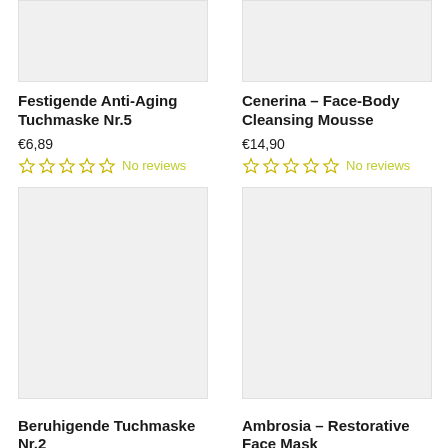[Figure (photo): Product image placeholder for Festigende Anti-Aging Tuchmaske Nr.5 - light gray rectangle]
Festigende Anti-Aging Tuchmaske Nr.5
€6,89
No reviews
[Figure (photo): Product image placeholder for Cenerina - Face-Body Cleansing Mousse - light gray rectangle]
Cenerina - Face-Body Cleansing Mousse
€14,90
No reviews
[Figure (photo): Product image placeholder for Beruhigende Tuchmaske Nr.2 - light gray rectangle]
Beruhigende Tuchmaske Nr.2
[Figure (photo): Product image placeholder for Ambrosia - Restorative Face Mask - light gray rectangle]
Ambrosia - Restorative Face Mask